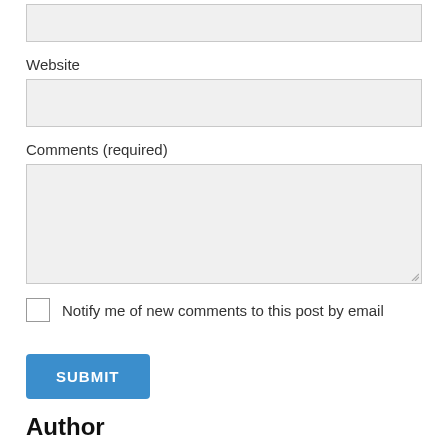[Figure (other): An empty text input field (top of page)]
Website
[Figure (other): An empty text input field for Website]
Comments (required)
[Figure (other): A large empty textarea field for Comments]
Notify me of new comments to this post by email
[Figure (other): A blue SUBMIT button]
Author
Blog site of John G Leslie PhD, MD, PhD. Please see Home page for information. As well, there is an email contact tab available-see next